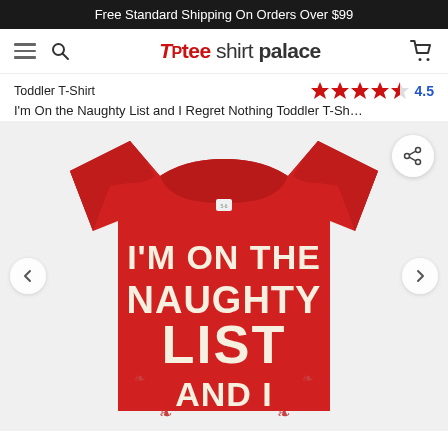Free Standard Shipping On Orders Over $99
[Figure (logo): Tee Shirt Palace logo with hamburger menu, search icon, and cart icon in navigation bar]
Toddler T-Shirt
4.5 stars rating
I'm On the Naughty List and I Regret Nothing Toddler T-Sh…
[Figure (photo): Red toddler t-shirt with cream/beige bold text reading I'M ON THE NAUGHTY LIST AND I (partially visible). Navigation arrows on left and right sides. Share button in top right corner.]